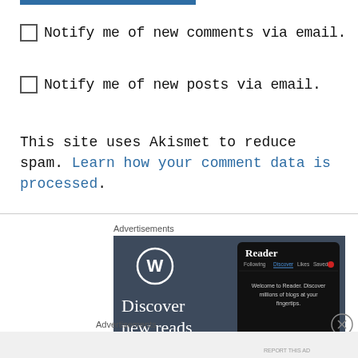Notify me of new comments via email.
Notify me of new posts via email.
This site uses Akismet to reduce spam. Learn how your comment data is processed.
Advertisements
[Figure (screenshot): WordPress Reader advertisement showing 'Discover new reads' with the WordPress logo and a phone mockup of the Reader app interface.]
Advertisements